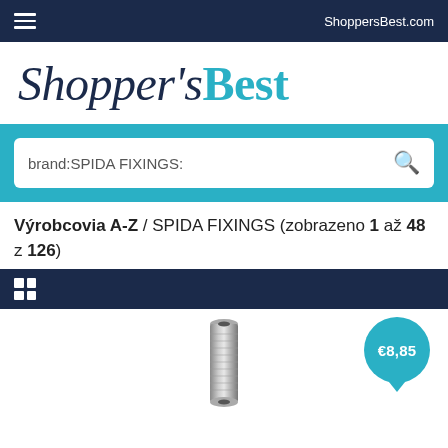ShoppersBest.com
[Figure (logo): Shopper'sBest logo in dark navy and teal colors]
brand:SPIDA FIXINGS:
Výrobcovia A-Z / SPIDA FIXINGS (zobrazeno 1 až 48 z 126)
[Figure (photo): Metal threaded standoff/nut hardware product image with price bubble showing €8,85]